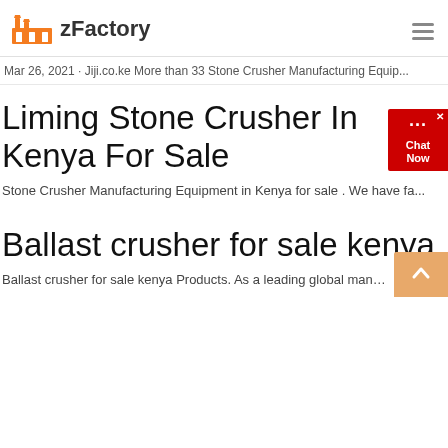zFactory
Mar 26, 2021 · Jiji.co.ke More than 33 Stone Crusher Manufacturing Equip...
Liming Stone Crusher In Kenya For Sale
Stone Crusher Manufacturing Equipment in Kenya for sale . We have fa...
Ballast crusher for sale kenya
Ballast crusher for sale kenya Products. As a leading global manufactur...